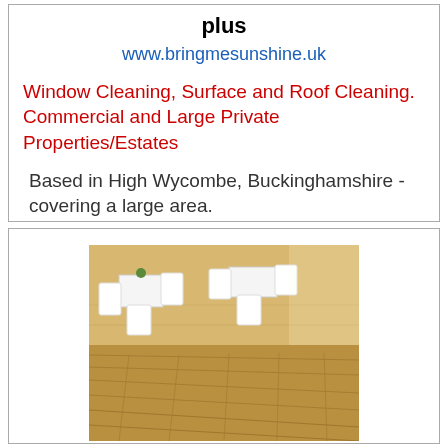plus
www.bringmesunshine.uk
Window Cleaning, Surface and Roof Cleaning. Commercial and Large Private Properties/Estates
Based in High Wycombe, Buckinghamshire - covering a large area.
[Figure (photo): Interior photo of a cafe/restaurant with white modern chairs and wooden tables on light wood plank flooring, viewed from a low angle.]